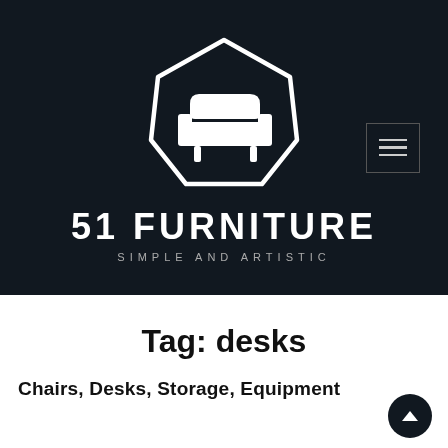[Figure (logo): 51 Furniture logo: white house/pentagon shaped icon containing a white sofa/chair silhouette on dark navy background, with hamburger menu icon in top right]
51 FURNITURE
SIMPLE AND ARTISTIC
Tag: desks
Chairs, Desks, Storage, Equipment